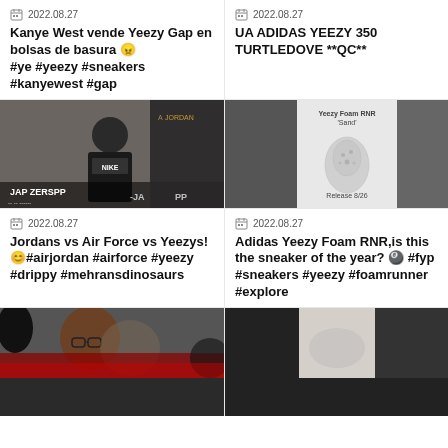2022.08.27
Kanye West vende Yeezy Gap en bolsas de basura 😠#ye #yeezy #sneakers #kanyewest #gap
2022.08.27
UA ADIDAS YEEZY 350 TURTLEDOVE **QC**
[Figure (photo): Man wearing Nike shirt standing indoors, JAP ZERSPP overlay text]
[Figure (photo): Yeezy Foam RNR Sand sneaker product image with Release 8/26 label]
2022.08.27
Jordans vs Air Force vs Yeezys! 😊#airjordan #airforce #yeezy #drippy #mehransdinosaurs
2022.08.27
Adidas Yeezy Foam RNR,is this the sneaker of the year? 🎱 #fyp #sneakers #yeezy #foamrunner #explore
[Figure (photo): Man with glasses appearing on a news broadcast]
[Figure (photo): Dark sneaker product image with beige background sections]